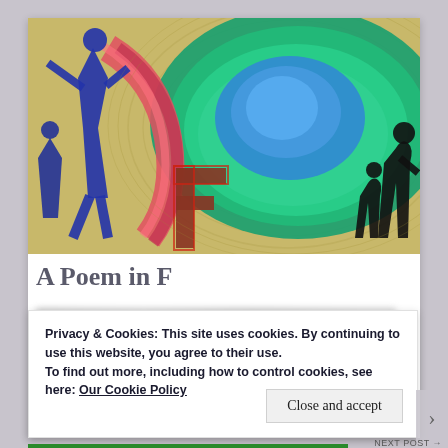[Figure (photo): Colorful artwork/painting featuring a large green and blue circular form with concentric lines on a textured background, with blue sculptural figures on the left and a prominent letter 'f' in the center-left. Silhouetted figures of museum visitors visible on the right edge.]
A Poem in F
Privacy & Cookies: This site uses cookies. By continuing to use this website, you agree to their use.
To find out more, including how to control cookies, see here: Our Cookie Policy